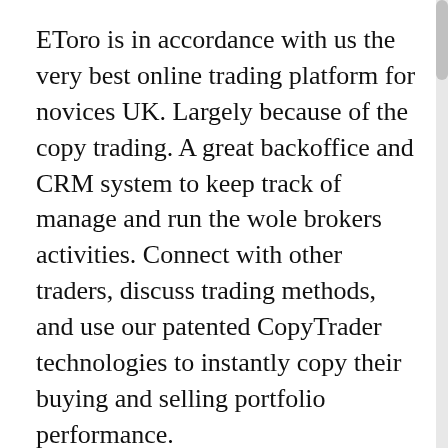EToro is in accordance with us the very best online trading platform for novices UK. Largely because of the copy trading. A great backoffice and CRM system to keep track of manage and run the wole brokers activities. Connect with other traders, discuss trading methods, and use our patented CopyTrader technologies to instantly copy their buying and selling portfolio performance.
Beneath the protected login you and your clients will have access to thousands of features, from registering latest accounts to digital deposits to managing technique languages and live life chat. It's built to support each day activities such as